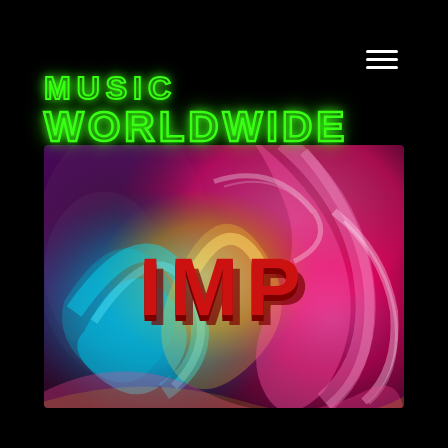[Figure (logo): Hamburger menu icon (three white horizontal lines) in top right corner]
MUSIC WORLDWIDE
[Figure (illustration): Abstract psychedelic swirl artwork with vibrant pink, teal, blue, yellow, and purple marbled paint patterns. Bold red 3D text 'IMP' is centered over the artwork.]